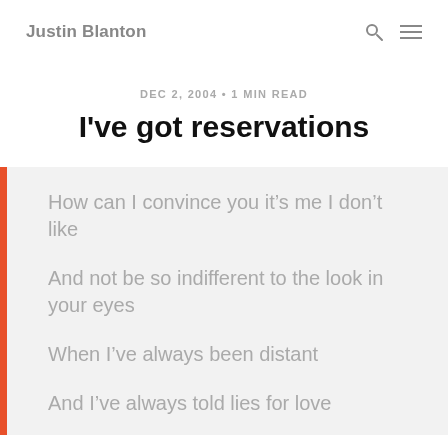Justin Blanton
DEC 2, 2004 • 1 MIN READ
I've got reservations
How can I convince you it's me I don't like

And not be so indifferent to the look in your eyes

When I've always been distant

And I've always told lies for love